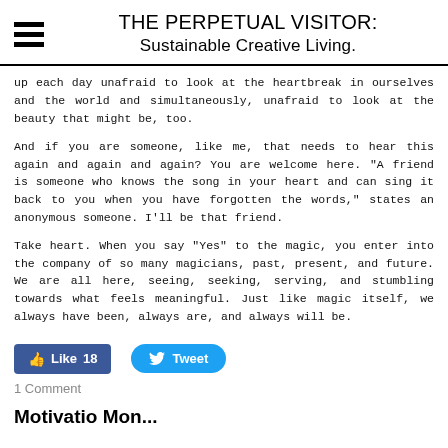THE PERPETUAL VISITOR: Sustainable Creative Living.
up each day unafraid to look at the heartbreak in ourselves and the world and simultaneously, unafraid to look at the beauty that might be, too.
And if you are someone, like me, that needs to hear this again and again and again? You are welcome here. “A friend is someone who knows the song in your heart and can sing it back to you when you have forgotten the words,” states an anonymous someone. I’ll be that friend.
Take heart. When you say “Yes” to the magic, you enter into the company of so many magicians, past, present, and future. We are all here, seeing, seeking, serving, and stumbling towards what feels meaningful. Just like magic itself, we always have been, always are, and always will be.
[Figure (other): Facebook Like button with count 18 and Twitter Tweet button]
1 Comment
Motivatio Mon...